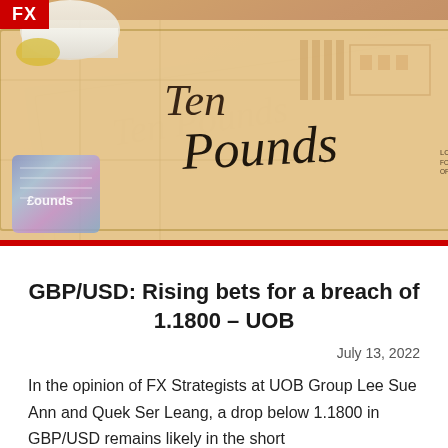[Figure (photo): Close-up photograph of British Ten Pounds sterling banknotes with 'FX' red badge overlay in top-left corner]
GBP/USD: Rising bets for a breach of 1.1800 – UOB
July 13, 2022
In the opinion of FX Strategists at UOB Group Lee Sue Ann and Quek Ser Leang, a drop below 1.1800 in GBP/USD remains likely in the short